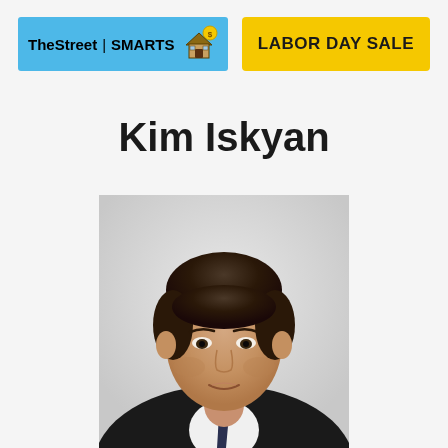TheStreet | SMARTS — LABOR DAY SALE
Kim Iskyan
[Figure (photo): Professional headshot of Kim Iskyan, a middle-aged man with dark hair wearing a dark suit and tie, photographed against a light grey background.]